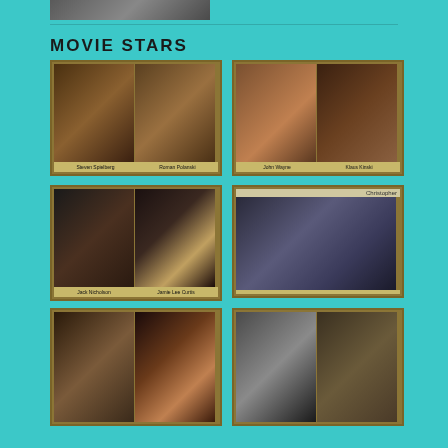[Figure (photo): Partial top image, cropped photo at top of page]
MOVIE STARS
[Figure (illustration): Card with two caricature illustrations: Steven Spielberg and Roman Polanski]
[Figure (illustration): Card with two caricature illustrations: John Wayne and Klaus Kinski]
[Figure (illustration): Card with two caricature illustrations: Jack Nicholson and Jamie Lee Curtis]
[Figure (illustration): Card with single illustration: Christopher (Lee), elegant portrait]
[Figure (illustration): Card with two caricature illustrations: elderly man and dancing woman]
[Figure (illustration): Card with two caricature illustrations: figure on cross and man portrait]